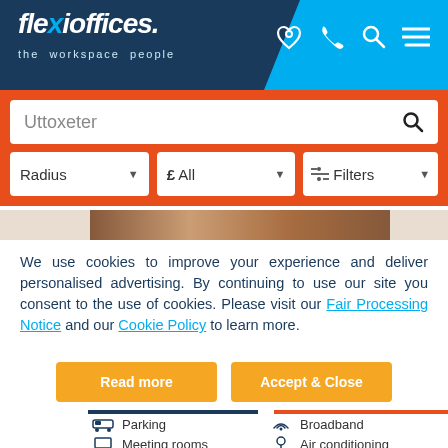[Figure (logo): Flexioffices logo with tagline 'the workspace people' on dark blue background with cyan right panel containing phone, search, and menu icons]
[Figure (screenshot): Search bar with 'Uttoxeter' text and orange background, with Radius, £ All, and Filters dropdowns below]
[Figure (photo): Partial image strip showing an office interior]
We use cookies to improve your experience and deliver personalised advertising. By continuing to use our site you consent to the use of cookies. Please visit our Fair Processing Notice and our Cookie Policy to learn more.
[Figure (screenshot): Two buttons: 'Read more' and 'Accept & Close' in yellow/orange color]
Parking
Broadband
Meeting rooms
Air conditioning
Reception
Virtual Offices